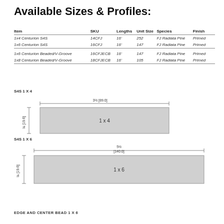Available Sizes & Profiles:
| Item | SKU | Lengths | Unit Size | Species | Finish |
| --- | --- | --- | --- | --- | --- |
| 1x4 Centurion S4S | 14CFJ | 16' | 252 | FJ Radiata Pine | Primed |
| 1x6 Centurion S4S | 16CFJ | 16' | 147 | FJ Radiata Pine | Primed |
| 1x6 Centurion Beaded/V-Groove | 16CFJECB | 16' | 147 | FJ Radiata Pine | Primed |
| 1x8 Centurion Beaded/V-Groove | 18CFJECB | 16' | 105 | FJ Radiata Pine | Primed |
[Figure (engineering-diagram): S4S 1x4 cross-section profile diagram with width 3-1/2 [89.0] and height 3/4 [19.6]]
[Figure (engineering-diagram): S4S 1x6 cross-section profile diagram with width 5-1/2 [140.0] and height 3/4 [19.6]]
EDGE AND CENTER BEAD 1 X 6